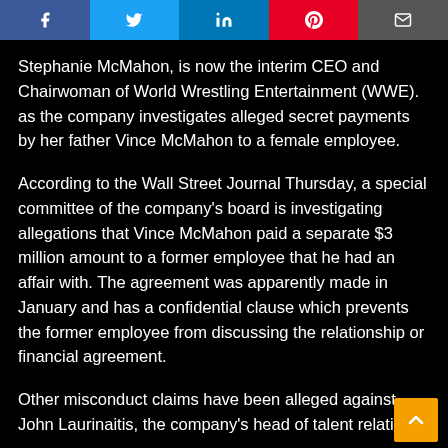[Figure (other): Social media share buttons bar: Facebook (dark blue), Twitter (light blue), LinkedIn (blue), Pinterest (red), Email/other (grey)]
Stephanie McMahon, is now the interim CEO and Chairwoman of World Wrestling Entertainment (WWE). as the company investigates alleged secret payments by her father Vince McMahon to a female employee.
According to the Wall Street Journal Thursday, a special committee of the company's board is investigating allegations that Vince McMahon paid a separate $3 million amount to a former employee that he had an affair with. The agreement was apparently made in January and has a confidential clause which prevents the former employee from discussing the relationship or financial agreement.
Other misconduct claims have been alleged against John Laurinaitis, the company's head of talent relations.